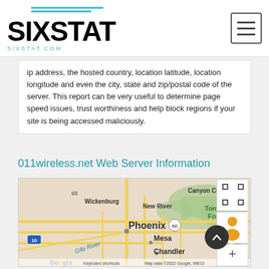SIXSTAT - sixstat.com
ip address, the hosted country, location latitude, location longitude and even the city, state and zip/postal code of the server. This report can be very useful to determine page speed issues, trust worthiness and help block regions if your site is being accessed maliciously.
011wireless.net Web Server Information
[Figure (map): Google Map showing Phoenix Arizona area including Wickenburg, Canyon City, New River, Tonto National Forest, Gila River, Mesa, Chandler, with map controls (zoom in/out, fullscreen, street view). Map data ©2022 Google, INEGI.]